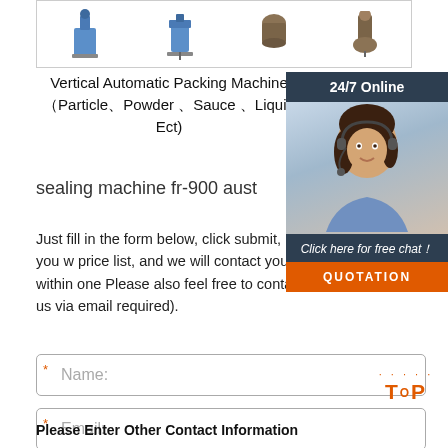[Figure (illustration): Row of small machine product icons inside a bordered box at the top of the page]
Vertical Automatic Packing Machine（Particle、Powder 、Sauce 、Liquig Ect)
[Figure (photo): 24/7 Online customer service widget with a photo of a woman wearing a headset, 'Click here for free chat！' text, and an orange QUOTATION button]
sealing machine fr-900 aust
Just fill in the form below, click submit, you w price list, and we will contact you within one Please also feel free to contact us via email required).
Name:
Email:
Please Enter Other Contact Information